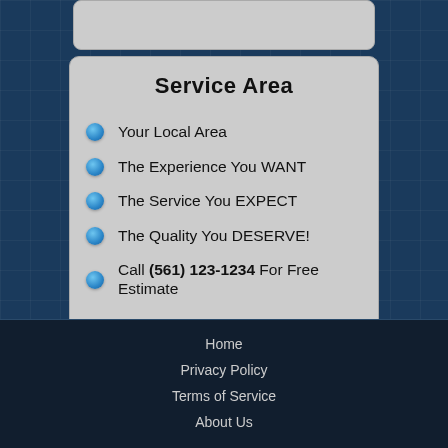Service Area
Your Local Area
The Experience You WANT
The Service You EXPECT
The Quality You DESERVE!
Call (561) 123-1234 For Free Estimate
Home
Privacy Policy
Terms of Service
About Us